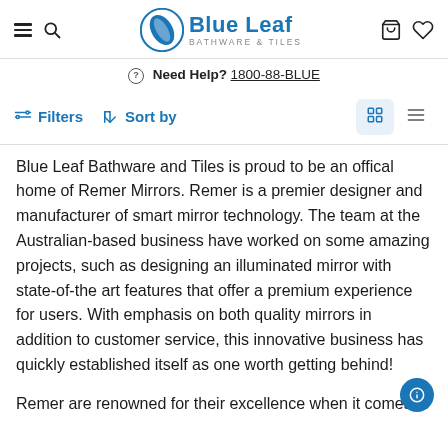Blue Leaf Bathware & Tiles — Navigation header with logo, search, cart, and wishlist icons
Need Help? 1800-88-BLUE
Filters  Sort by  (grid/list view toggle)
Blue Leaf Bathware and Tiles is proud to be an offical home of Remer Mirrors. Remer is a premier designer and manufacturer of smart mirror technology. The team at the Australian-based business have worked on some amazing projects, such as designing an illuminated mirror with state-of-the art features that offer a premium experience for users. With emphasis on both quality mirrors in addition to customer service, this innovative business has quickly established itself as one worth getting behind!
Remer are renowned for their excellence when it comes to